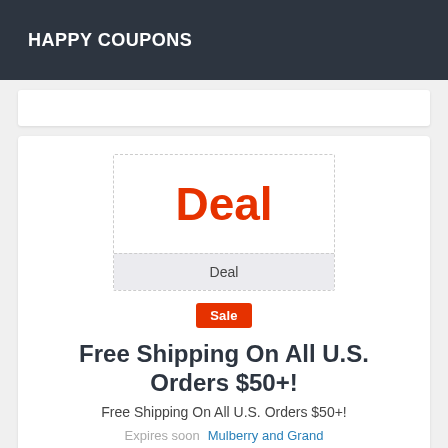HAPPY COUPONS
[Figure (other): Deal coupon box with dashed border showing 'Deal' in orange bold text on top section and 'Deal' label in gray bottom section]
Sale
Free Shipping On All U.S. Orders $50+!
Free Shipping On All U.S. Orders $50+!
Expires soon  Mulberry and Grand